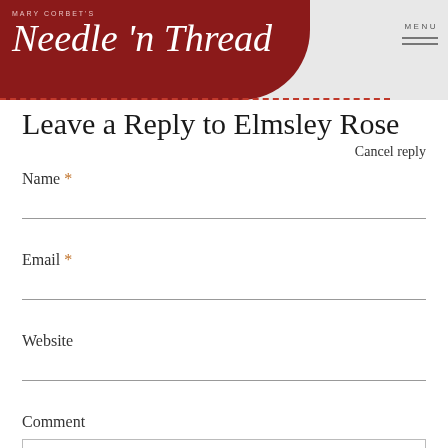Mary Corbet's Needle 'n Thread — MENU
Leave a Reply to Elmsley Rose
Cancel reply
Name *
Email *
Website
Comment